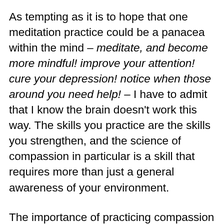As tempting as it is to hope that one meditation practice could be a panacea within the mind – meditate, and become more mindful! improve your attention! cure your depression! notice when those around you need help! – I have to admit that I know the brain doesn't work this way. The skills you practice are the skills you strengthen, and the science of compassion in particular is a skill that requires more than just a general awareness of your environment.
The importance of practicing compassion in order to be more compassionate was driven home by a recent Psychological Science article that carefully matched two forms of meditation.